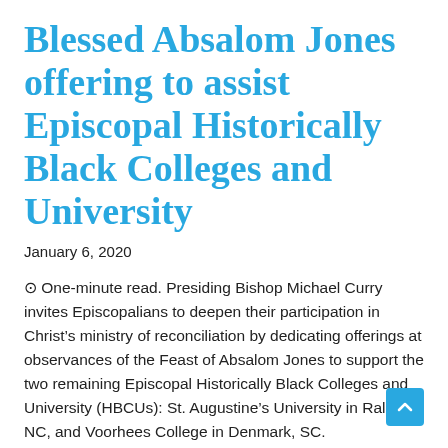Blessed Absalom Jones offering to assist Episcopal Historically Black Colleges and University
January 6, 2020
⊙ One-minute read. Presiding Bishop Michael Curry invites Episcopalians to deepen their participation in Christ's ministry of reconciliation by dedicating offerings at observances of the Feast of Absalom Jones to support the two remaining Episcopal Historically Black Colleges and University (HBCUs): St. Augustine's University in Raleigh, NC, and Voorhees College in Denmark, SC.